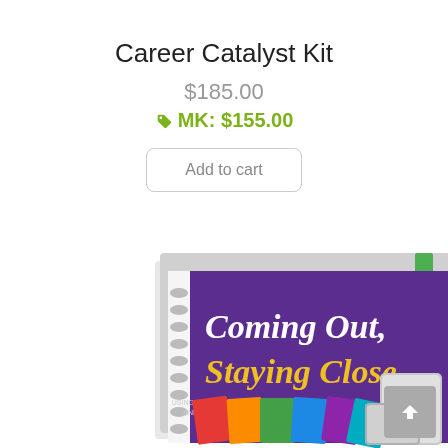Career Catalyst Kit
$185.00
MK: $155.00
Add to cart
[Figure (photo): Product photo showing a spiral-bound workbook titled 'Coming Out, Staying Close' with a purple cover featuring colorful cards, alongside a card case/tin. The book subtitle reads: USING CCS CARDS TO HELP YOU HAVE OPEN AND HONEST CONVERSATIONS ABOUT COMING OUT AS LGBTQ.]